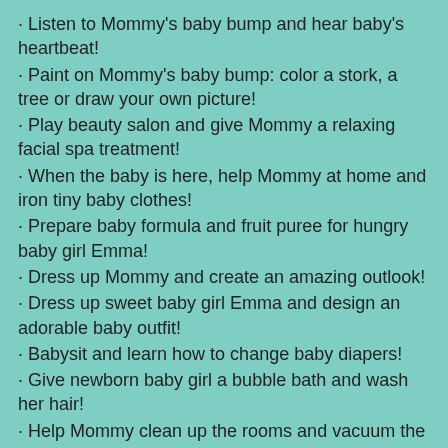· Listen to Mommy's baby bump and hear baby's heartbeat!
· Paint on Mommy's baby bump: color a stork, a tree or draw your own picture!
· Play beauty salon and give Mommy a relaxing facial spa treatment!
· When the baby is here, help Mommy at home and iron tiny baby clothes!
· Prepare baby formula and fruit puree for hungry baby girl Emma!
· Dress up Mommy and create an amazing outlook!
· Dress up sweet baby girl Emma and design an adorable baby outfit!
· Babysit and learn how to change baby diapers!
· Give newborn baby girl a bubble bath and wash her hair!
· Help Mommy clean up the rooms and vacuum the carpets!
· Play Sweet Baby Girl Newborn 2 every day and collect cute trophies!